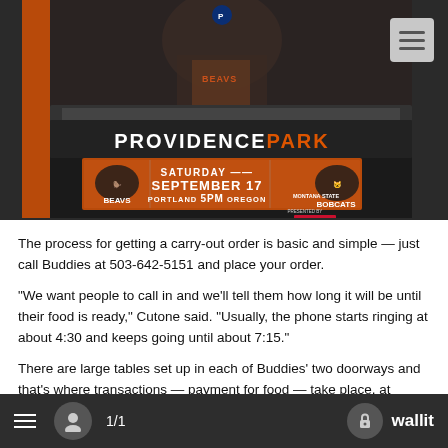[Figure (photo): Providence Park stadium scoreboard showing Oregon State Beavers vs Montana State Bobcats game on Saturday September 17 at 5PM Portland Oregon, presented by First Interstate Bank. The scoreboard is lit in orange with team logos on either side.]
The process for getting a carry-out order is basic and simple — just call Buddies at 503-642-5151 and place your order.
"We want people to call in and we'll tell them how long it will be until their food is ready," Cutone said. "Usually, the phone starts ringing at about 4:30 and keeps going until about 7:15."
There are large tables set up in each of Buddies' two doorways and that's where transactions — payment for food — take place, at
1/1   wallit